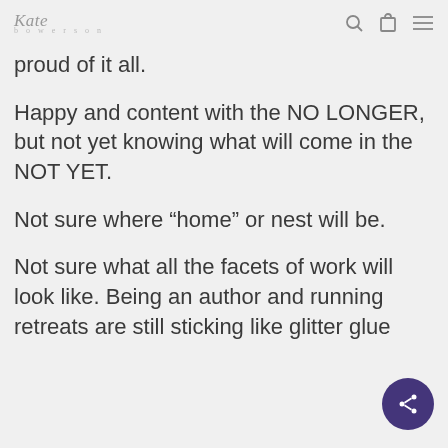Kate Bowerson
proud of it all.
Happy and content with the NO LONGER, but not yet knowing what will come in the NOT YET.
Not sure where “home” or nest will be.
Not sure what all the facets of work will look like. Being an author and running retreats are still sticking like glitter glue